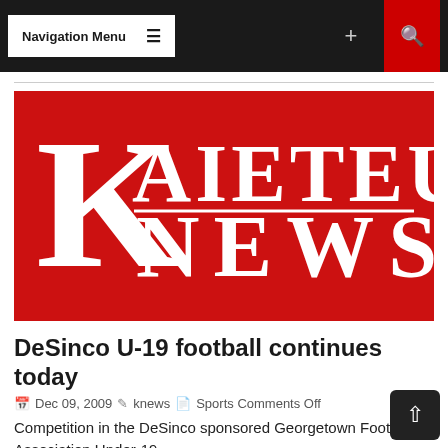Navigation Menu
[Figure (logo): Kaieteur News logo: large white K with serif font on red background, with AIETEUR text to the right and NEWS below]
DeSinco U-19 football continues today
Dec 09, 2009  knews  Sports Comments Off
Competition in the DeSinco sponsored Georgetown Football Association Under-19